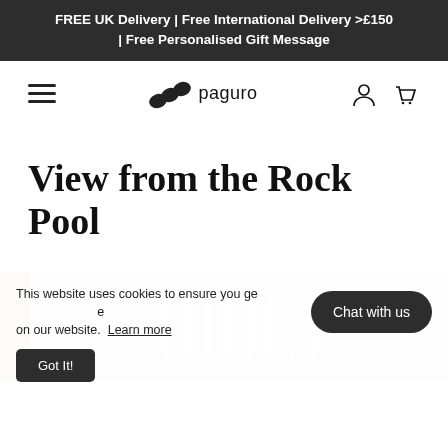FREE UK Delivery | Free International Delivery >£150 | Free Personalised Gift Message
[Figure (logo): Paguro brand logo with hamburger menu, shell logo mark and 'paguro' wordmark, plus account and cart icons]
View from the Rock Pool
[Figure (photo): Partial view of a clothes rack with garments hanging, muted tones]
This website uses cookies to ensure you get the best experience on our website.  Learn more
Got It!